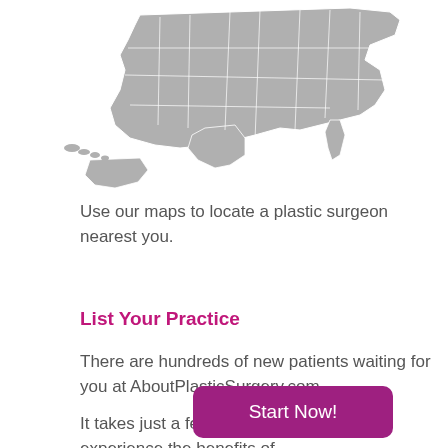[Figure (map): Gray silhouette map of the United States including Alaska and Hawaii]
Use our maps to locate a plastic surgeon nearest you.
List Your Practice
There are hundreds of new patients waiting for you at AboutPlasticSurgery.com
It takes just a few minutes to register and experience the benefits of AboutPlasticSurgery.com
Start Now!